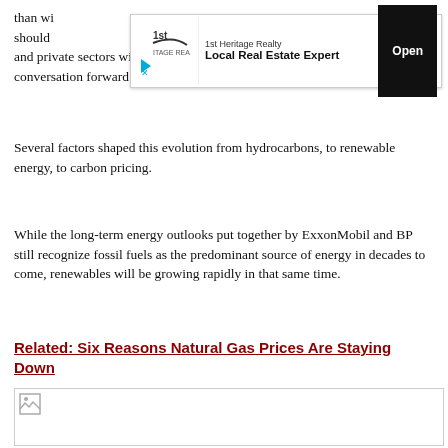than wi...panies should ...olic and private sectors will be critical to moving the conversation forward both in Paris and beyond.
[Figure (other): Advertisement banner: 1st Heritage Realty - Local Real Estate Expert with Open button]
Several factors shaped this evolution from hydrocarbons, to renewable energy, to carbon pricing.
While the long-term energy outlooks put together by ExxonMobil and BP still recognize fossil fuels as the predominant source of energy in decades to come, renewables will be growing rapidly in that same time.
Related: Six Reasons Natural Gas Prices Are Staying Down
[Figure (other): Broken image placeholder at bottom of page]